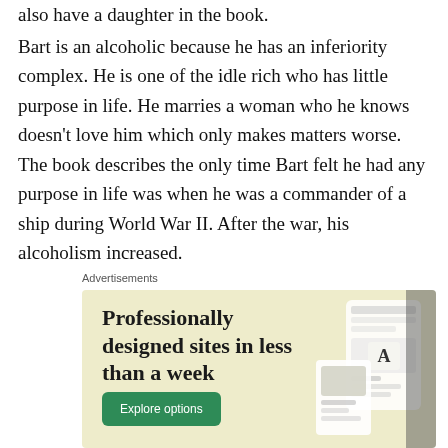also have a daughter in the book.
Bart is an alcoholic because he has an inferiority complex. He is one of the idle rich who has little purpose in life. He marries a woman who he knows doesn't love him which only makes matters worse. The book describes the only time Bart felt he had any purpose in life was when he was a commander of a ship during World War II. After the war, his alcoholism increased.
[Figure (infographic): Advertisement banner with beige background. Text reads 'Professionally designed sites in less than a week' with a green 'Explore options' button and website/app mockup images on the right side.]